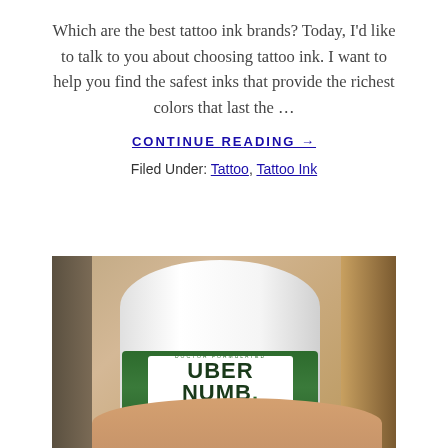Which are the best tattoo ink brands? Today, I'd like to talk to you about choosing tattoo ink. I want to help you find the safest inks that provide the richest colors that last the …
CONTINUE READING →
Filed Under: Tattoo, Tattoo Ink
[Figure (photo): A hand holding a white cylindrical bottle of Uber Numb topical anesthetic cream with a green label showing '5% Lidocaine, 2 oz / 57g' and 'Child Proof Packaging'. Background has blurred brown and dark elements.]